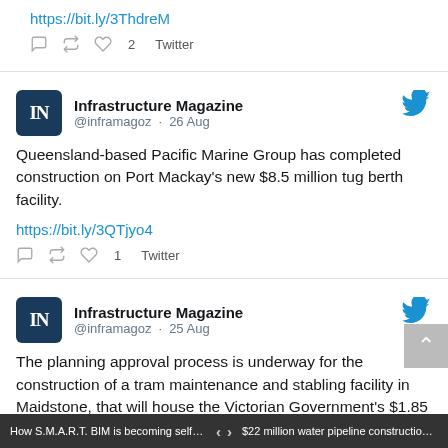https://bit.ly/3ThdreM
♡ 2  Twitter
Infrastructure Magazine @inframagoz · 26 Aug
Queensland-based Pacific Marine Group has completed construction on Port Mackay's new $8.5 million tug berth facility.
https://bit.ly/3QTjyo4
♡ 1  Twitter
Infrastructure Magazine @inframagoz · 25 Aug
The planning approval process is underway for the construction of a tram maintenance and stabling facility in Maidstone, that will house the Victorian Government's $1.85 billion fleet of next generation trams.
How S.M.A.R.T. BIM is becoming self a...   < >   $22 million water pipeline construction c...